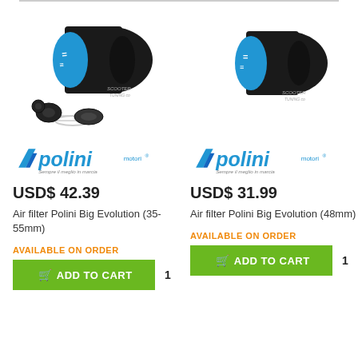[Figure (photo): Air filter Polini Big Evolution (35-55mm) with accessories including clamp, rubber connectors, shown with Polini brand logo and Scooter Tuning watermark]
[Figure (photo): Air filter Polini Big Evolution (48mm) single unit with Polini brand logo and Scooter Tuning watermark]
USD$ 42.39
USD$ 31.99
Air filter Polini Big Evolution (35-55mm)
Air filter Polini Big Evolution (48mm)
AVAILABLE ON ORDER
AVAILABLE ON ORDER